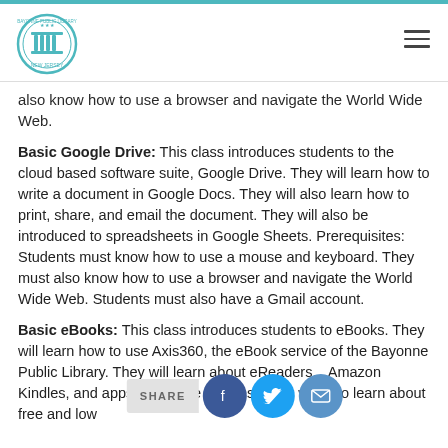Bayonne Public Library
also know how to use a browser and navigate the World Wide Web.
Basic Google Drive: This class introduces students to the cloud based software suite, Google Drive. They will learn how to write a document in Google Docs. They will also learn how to print, share, and email the document. They will also be introduced to spreadsheets in Google Sheets. Prerequisites: Students must know how to use a mouse and keyboard. They must also know how to use a browser and navigate the World Wide Web. Students must also have a Gmail account.
Basic eBooks: This class introduces students to eBooks. They will learn how to use Axis360, the eBook service of the Bayonne Public Library. They will learn about eReaders... Amazon Kindles, and apps for mobile devices. They will also learn about free and low...